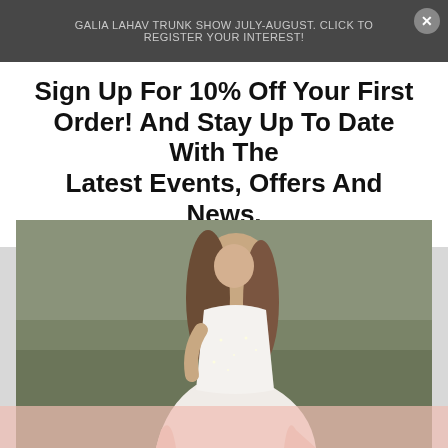GALIA LAHAV TRUNK SHOW JULY-AUGUST. CLICK TO REGISTER YOUR INTEREST!
Sign Up For 10% Off Your First Order! And Stay Up To Date With The Latest Events, Offers And News.
[Figure (photo): Woman wearing a fitted strapless sparkly white/blush mermaid wedding dress standing in a field]